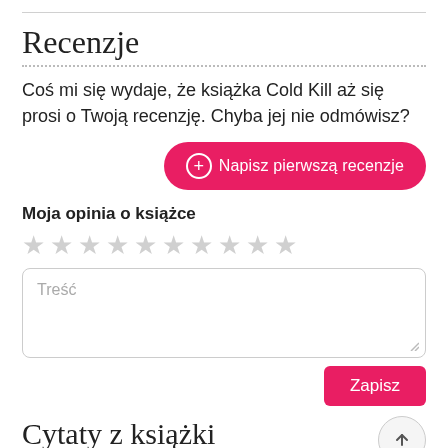Recenzje
Coś mi się wydaje, że książka Cold Kill aż się prosi o Twoją recenzję. Chyba jej nie odmówisz?
[Figure (other): Button: ⊕ Napisz pierwszą recenzje (pink rounded button)]
Moja opinia o książce
[Figure (other): Row of 10 empty star rating icons in light grey]
[Figure (other): Text area input with placeholder text 'Treść']
[Figure (other): Button: Zapisz (pink button)]
Cytaty z książki
[Figure (other): Scroll up circular button with upward arrow]